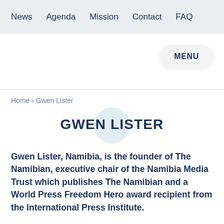News   Agenda   Mission   Contact   FAQ
MENU
Home › Gwen Lister
GWEN LISTER
Gwen Lister, Namibia, is the founder of The Namibian, executive chair of the Namibia Media Trust which publishes The Namibian and a World Press Freedom Hero award recipient from the International Press Institute.